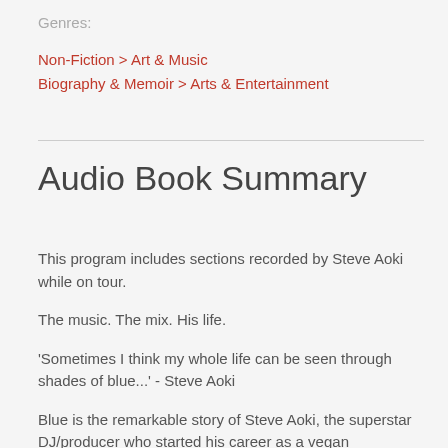Genres:
Non-Fiction > Art & Music
Biography & Memoir > Arts & Entertainment
Audio Book Summary
This program includes sections recorded by Steve Aoki while on tour.
The music. The mix. His life.
'Sometimes I think my whole life can be seen through shades of blue...' - Steve Aoki
Blue is the remarkable story of Steve Aoki, the superstar DJ/producer who started his career as a vegan